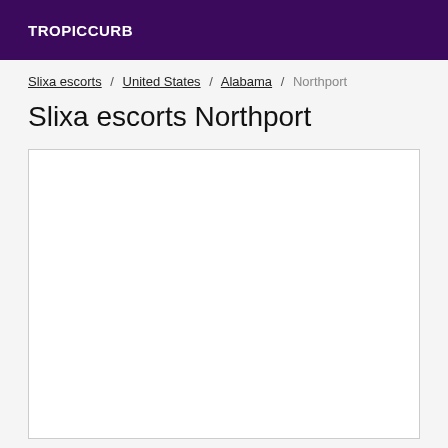TROPICCURB
Slixa escorts / United States / Alabama / Northport
Slixa escorts Northport
[Figure (other): Empty white content box with border]